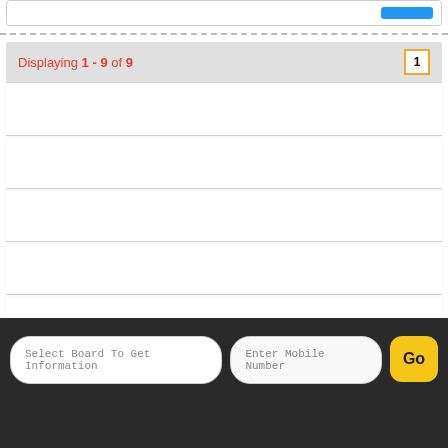Displaying 1 - 9 of 9
1
Select Board To Get Information
Enter Mobile Number
Go